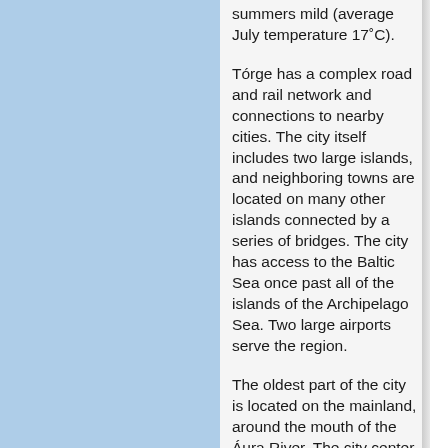summers mild (average July temperature 17˚C).
Tórge has a complex road and rail network and connections to nearby cities. The city itself includes two large islands, and neighboring towns are located on many other islands connected by a series of bridges. The city has access to the Baltic Sea once past all of the islands of the Archipelago Sea. Two large airports serve the region.
The oldest part of the city is located on the mainland, around the mouth of the Áura River. The city center is very dense, with high skyscrapers functioning as centers of business, apartments, hotels, stores, restaurants, and often combinations of the